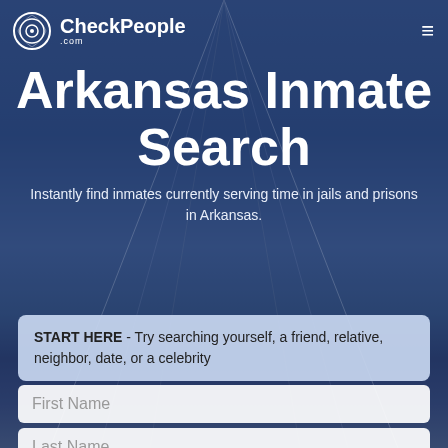[Figure (screenshot): CheckPeople.com website screenshot showing Arkansas Inmate Search page with blue prison corridor background and American flag]
CheckPeople.com
Arkansas Inmate Search
Instantly find inmates currently serving time in jails and prisons in Arkansas.
START HERE - Try searching yourself, a friend, relative, neighbor, date, or a celebrity
First Name
Last Name
City